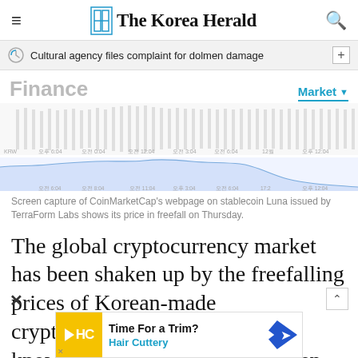The Korea Herald
Cultural agency files complaint for dolmen damage
Finance
[Figure (continuous-plot): Screen capture of CoinMarketCap's webpage showing Luna stablecoin price chart in freefall, with two time-series line charts stacked, x-axis showing time labels in Korean (오후 6:04, 오전 0:04, 오전 12:04, 오전 3:04, 오전 6:04, 12월, 오후 12:04)]
Screen capture of CoinMarketCap's webpage on stablecoin Luna issued by TerraForm Labs shows its price in freefall on Thursday.
The global cryptocurrency market has been shaken up by the freefalling prices of Korean-made cryptocurrency terraUSD, also known as UST, and its sister token luna, raising concerns that it may lead to the crypto